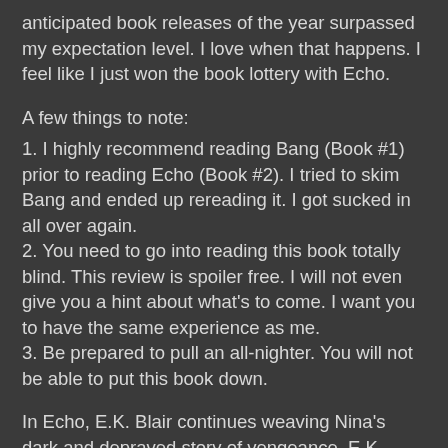anticipated book releases of the year surpassed my expectation level.  I love when that happens.  I feel like I just won the book lottery with Echo.
A few things to note:
1. I highly recommend reading Bang (Book #1) prior to reading Echo (Book #2).  I tried to skim Bang and ended up rereading it. I got sucked in all over again.
2. You need to go into reading this book totally blind. This review is spoiler free. I will not even give you a hint about what's to come. I want you to have the same experience as me.
3. Be prepared to pull an all-nighter. You will not be able to put this book down.
In Echo, E.K. Blair continues weaving Nina's dark and depraved story of vengeance. E.K. spins an unforgettable and intricate web of love, lies, murder and mayhem. Real world monsters with blackened hearts come to life in this psychosexual thriller.  Nothing about these characters or this story feels sugar coated. The twisted plot and intense character development made this book absolutely